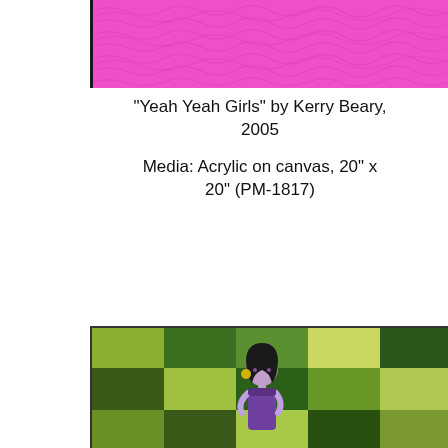[Figure (photo): Close-up of a painting showing bright magenta/pink textured brushwork on canvas, cropped at top]
"Yeah Yeah Girls" by Kerry Beary, 2005

Media: Acrylic on canvas, 20" x 20" (PM-1817)
[Figure (photo): Illustration of a stylized woman with black hair wearing a purple dress, standing in front of a green patchwork/grid background with varying shades of green squares]